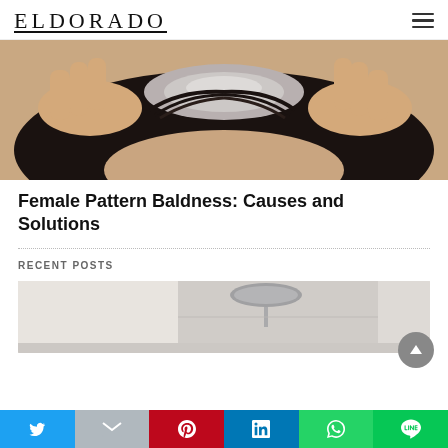ELDORADO
[Figure (photo): Close-up of a person separating hair at the scalp, showing gray roots and dark hair, hands visible pulling hair apart]
Female Pattern Baldness: Causes and Solutions
RECENT POSTS
[Figure (photo): Shower interior with a round ceiling-mounted rain shower head, light beige/gray tiled walls]